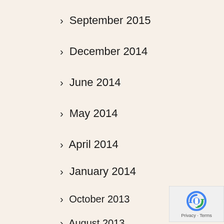September 2015
December 2014
June 2014
May 2014
April 2014
January 2014
October 2013
August 2013
May 2013